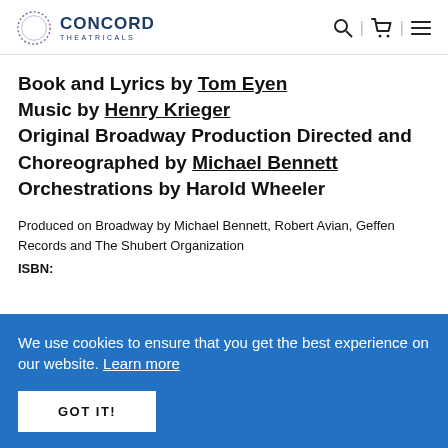Concord Theatricals
Book and Lyrics by Tom Eyen
Music by Henry Krieger
Original Broadway Production Directed and Choreographed by Michael Bennett
Orchestrations by Harold Wheeler
Produced on Broadway by Michael Bennett, Robert Avian, Geffen Records and The Shubert Organization
ISBN:
We use cookies to ensure that you get the best experience on our website. Learn more
GOT IT!